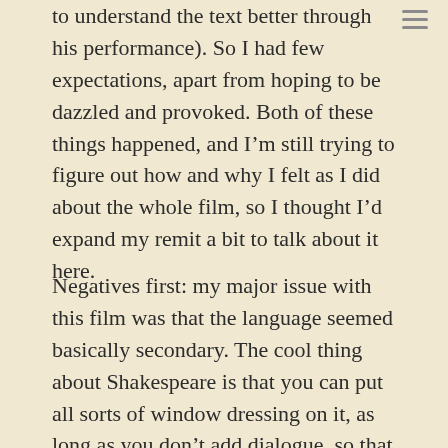to understand the text better through his performance). So I had few expectations, apart from hoping to be dazzled and provoked. Both of these things happened, and I'm still trying to figure out how and why I felt as I did about the whole film, so I thought I'd expand my remit a bit to talk about it here.
Negatives first: my major issue with this film was that the language seemed basically secondary. The cool thing about Shakespeare is that you can put all sorts of window dressing on it, as long as you don't add dialogue, so that films of the plays can be visually amazing, with silent scenes and characters that create resonance or suggest motive. The downside of that is that the language can easily become less and less important, as the